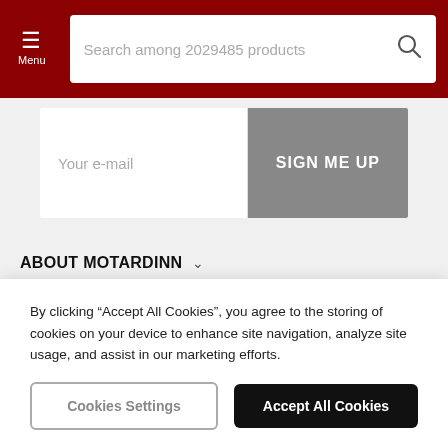Menu | Search among 2029485 products
Your e-mail
SIGN ME UP
ABOUT MOTARDINN
SHOP WITH CONFIDENCE
SUSTAINABLE DELIVERY
[Figure (logo): Green leaf/sustainability icon circle]
By clicking “Accept All Cookies”, you agree to the storing of cookies on your device to enhance site navigation, analyze site usage, and assist in our marketing efforts.
Cookies Settings
Accept All Cookies